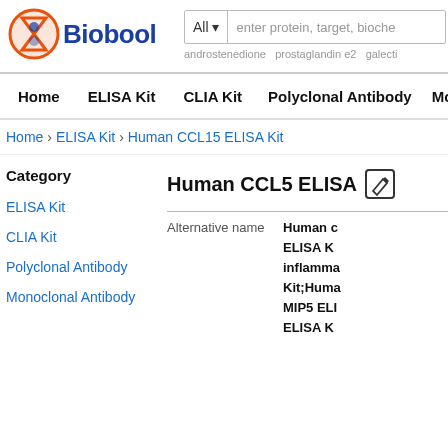[Figure (logo): Biobool logo with hourglass/flask icon in orange and blue]
All ▾  enter protein, target, biochem...
androstenedione   prostaglandin e2   galectin...
Home   ELISA Kit   CLIA Kit   Polyclonal Antibody   Monoclona...
Home › ELISA Kit › Human CCL15 ELISA Kit
Human CCL15 ELISA...
Category
ELISA Kit
CLIA Kit
Polyclonal Antibody
Monoclonal Antibody
| Field | Value |
| --- | --- |
| Alternative name | Human c...
ELISA K...
inflamm...
Kit;Huma...
MIP5 ELI...
ELISA K... |